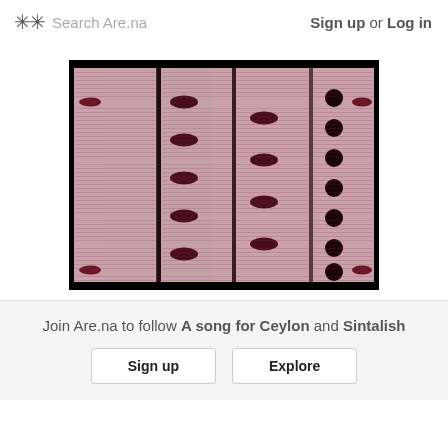✳✳ Search Are.na   Sign up or Log in
[Figure (photo): A grid/mosaic of repeated close-up images of human mouths/lips arranged in columns, with dark oval mouth shapes on a pink/mauve background, resembling a filmstrip or contact sheet pattern.]
Join Are.na to follow A song for Ceylon and Sintalish
Sign up   Explore